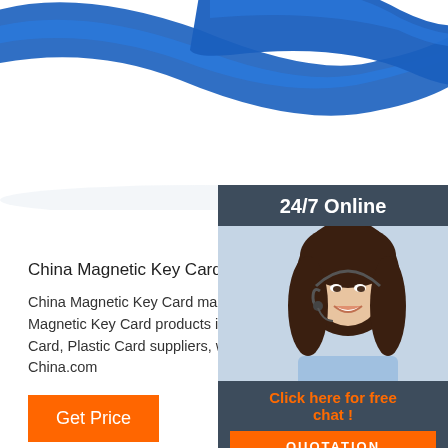[Figure (photo): Blue silicone wristband/bracelet product photo on white background]
[Figure (infographic): 24/7 Online chat widget with customer service representative photo, orange 'Click here for free chat!' text, and orange QUOTATION button on dark slate background]
China Magnetic Key Card, Magnetic Key Card
China Magnetic Key Card manufacturers - Select 20 Magnetic Key Card products in best price from certi Card, Plastic Card suppliers, wholesalers and factor China.com
[Figure (other): Orange Get Price button]
[Figure (other): Orange TOP back-to-top icon with dots above text]